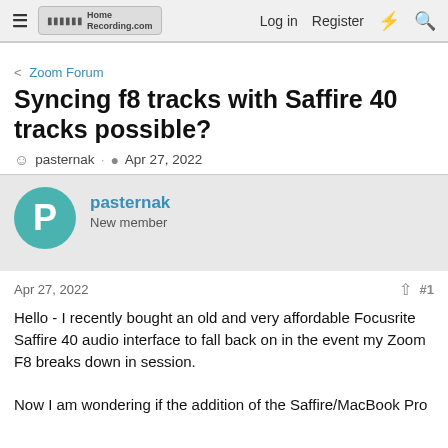≡ HomeRecording.com  Log in  Register
< Zoom Forum
Syncing f8 tracks with Saffire 40 tracks possible?
pasternak · Apr 27, 2022
pasternak
New member
Apr 27, 2022  #1
Hello - I recently bought an old and very affordable Focusrite Saffire 40 audio interface to fall back on in the event my Zoom F8 breaks down in session.

Now I am wondering if the addition of the Saffire/MacBook Pro